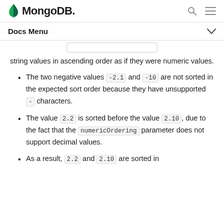MongoDB
Docs Menu
string values in ascending order as if they were numeric values.
The two negative values -2.1 and -10 are not sorted in the expected sort order because they have unsupported - characters.
The value 2.2 is sorted before the value 2.10, due to the fact that the numericOrdering parameter does not support decimal values.
As a result, 2.2 and 2.10 are sorted in